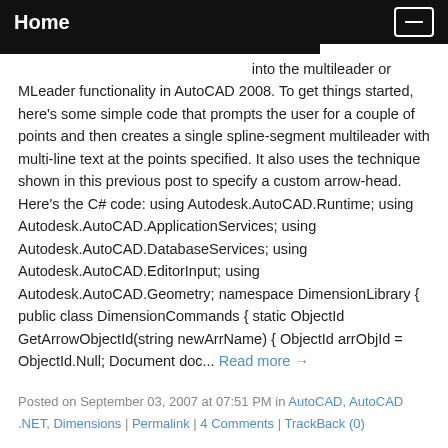Home
into the multileader or MLeader functionality in AutoCAD 2008. To get things started, here's some simple code that prompts the user for a couple of points and then creates a single spline-segment multileader with multi-line text at the points specified. It also uses the technique shown in this previous post to specify a custom arrow-head. Here's the C# code: using Autodesk.AutoCAD.Runtime; using Autodesk.AutoCAD.ApplicationServices; using Autodesk.AutoCAD.DatabaseServices; using Autodesk.AutoCAD.EditorInput; using Autodesk.AutoCAD.Geometry; namespace DimensionLibrary { public class DimensionCommands { static ObjectId GetArrowObjectId(string newArrName) { ObjectId arrObjId = ObjectId.Null; Document doc... Read more →
Posted on September 03, 2007 at 07:51 PM in AutoCAD, AutoCAD .NET, Dimensions | Permalink | 4 Comments | TrackBack (0)